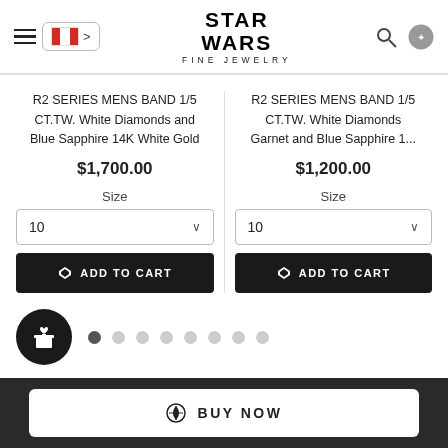Star Wars Fine Jewelry — navigation header with hamburger menu, Canadian flag, logo, search, and account icons
R2 SERIES MENS BAND 1/5 CT.TW. White Diamonds and Blue Sapphire 14K White Gold
$1,700.00
Size
10
ADD TO CART
R2 SERIES MENS BAND 1/5 CT.TW. White Diamonds Garnet and Blue Sapphire 1...
$1,200.00
Size
10
ADD TO CART
BUY NOW